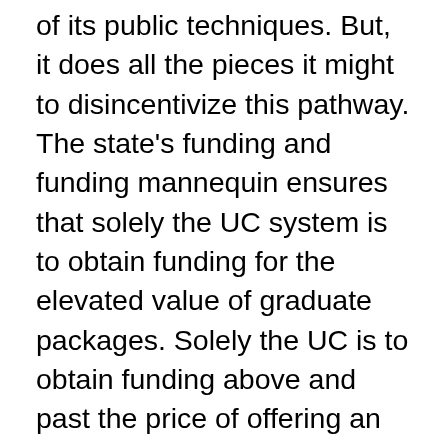of its public techniques. But, it does all the pieces it might to disincentivize this pathway. The state's funding and funding mannequin ensures that solely the UC system is to obtain funding for the elevated value of graduate packages. Solely the UC is to obtain funding above and past the price of offering an undergraduate diploma, in help of its school analysis. If a CSU campus needs to associate to supply its personal college students a sophisticated diploma? It too should pay the UC or non-public associate, not the opposite approach round. That is all true, even supposing many Cal State universities like San Diego State are unmatched within the range of the graduate college students they serve. About 35 % of our grasp's and doctoral college students are